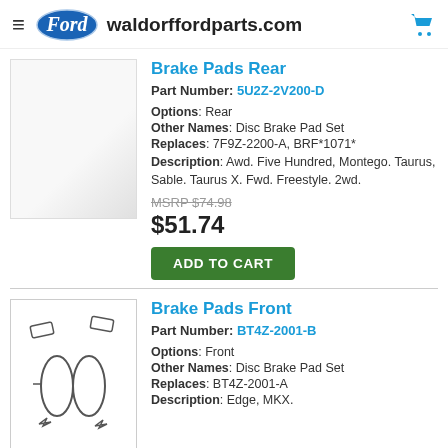waldorffordparts.com
Brake Pads Rear
Part Number: 5U2Z-2V200-D
Options: Rear
Other Names: Disc Brake Pad Set
Replaces: 7F9Z-2200-A, BRF*1071*
Description: Awd. Five Hundred, Montego. Taurus, Sable. Taurus X. Fwd. Freestyle. 2wd.
MSRP $74.98
$51.74
ADD TO CART
Brake Pads Front
Part Number: BT4Z-2001-B
Options: Front
Other Names: Disc Brake Pad Set
Replaces: BT4Z-2001-A
Description: Edge, MKX.